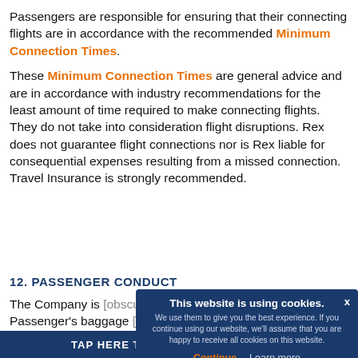Passengers are responsible for ensuring that their connecting flights are in accordance with the recommended Minimum Connection Times.
These Minimum Connection Times are general advice and are in accordance with industry recommendations for the least amount of time required to make connecting flights. They do not take into consideration flight disruptions. Rex does not guarantee flight connections nor is Rex liable for consequential expenses resulting from a missed connection. Travel Insurance is strongly recommended.
12. PASSENGER CONDUCT
The Company is [partially obscured] the right to refuse [partially obscured] Passenger's baggage [partially obscured]
This website is using cookies. We use them to give you the best experience. If you continue using our website, we'll assume that you are happy to receive all cookies on this website. Continue   Learn more
TAP HERE TO START YOUR BOOKING